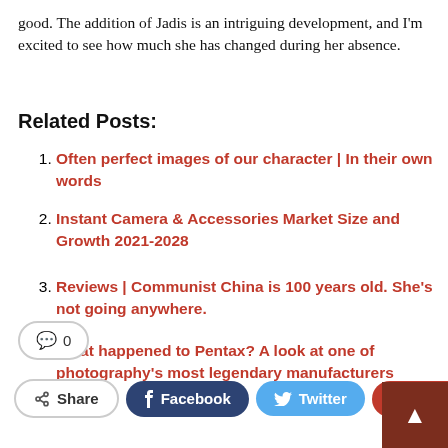good. The addition of Jadis is an intriguing development, and I'm excited to see how much she has changed during her absence.
Related Posts:
Often perfect images of our character | In their own words
Instant Camera & Accessories Market Size and Growth 2021-2028
Reviews | Communist China is 100 years old. She's not going anywhere.
What happened to Pentax? A look at one of photography's most legendary manufacturers
0
Share  Facebook  Twitter  Google+  +